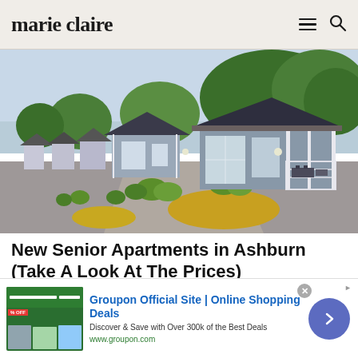marie claire
[Figure (photo): Row of small blue-grey modern cabin-style houses with white trim, dark roofs, green shrubs and orange/yellow ground cover along a path]
New Senior Apartments in Ashburn (Take A Look At The Prices)
home.seniorius.com | Sponsored
[Figure (infographic): Groupon advertisement banner: Groupon Official Site | Online Shopping Deals. Discover & Save with Over 300k of the Best Deals. www.groupon.com. Shows ad image of Groupon shopping deals with a purple/indigo arrow button on right.]